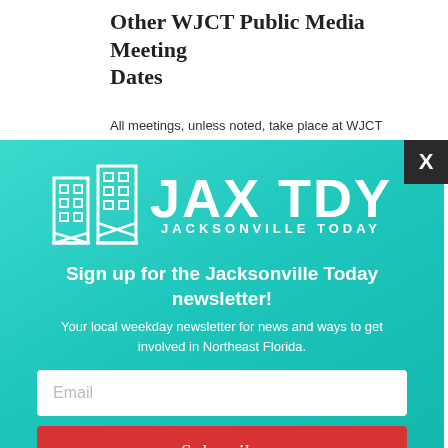Other WJCT Public Media Meeting Dates
All meetings, unless noted, take place at WJCT
[Figure (screenshot): JAX TDY Jacksonville Today newsletter sign-up modal overlay on a teal/turquoise gradient background. Contains JAX TDY logo with two building towers icon, heading 'Sign up for the Jacksonville Today newsletter!', subtext 'Your local weekday newsletter for news and ways to get involved in Northeast Florida.', an Email input field, and a red Subscribe button. A dark X close button appears in the top right corner.]
Sign up for the Jacksonville Today newsletter!
Your local weekday newsletter for news and ways to get involved in Northeast Florida.
Email
Subscribe